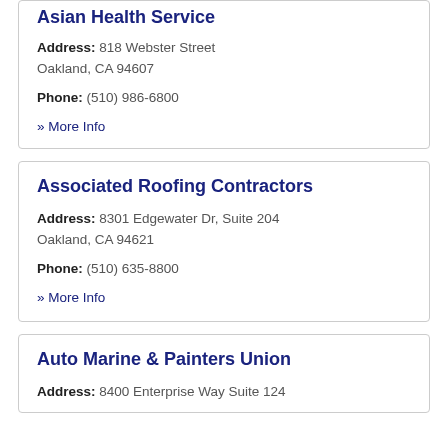Asian Health Service
Address: 818 Webster Street Oakland, CA 94607
Phone: (510) 986-6800
» More Info
Associated Roofing Contractors
Address: 8301 Edgewater Dr, Suite 204 Oakland, CA 94621
Phone: (510) 635-8800
» More Info
Auto Marine & Painters Union
Address: 8400 Enterprise Way Suite 124